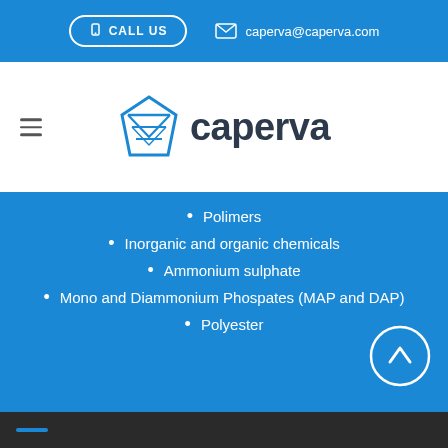CALL US  caperva@caperva.com
[Figure (logo): Caperva logo with diamond-shaped geometric icon in blue and company name 'caperva' in dark grey]
Polimers
Inorganic and organic chemicals
Ammonium sulphate
Mono and Diammonium Phospates (MAP and DAP)
Polyester